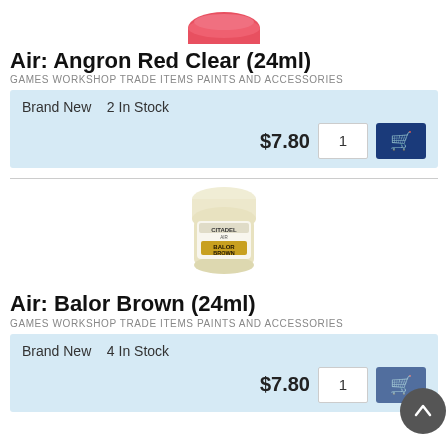[Figure (photo): Partial view of a red Citadel Air paint pot from above (cropped at top)]
Air: Angron Red Clear (24ml)
GAMES WORKSHOP TRADE ITEMS PAINTS AND ACCESSORIES
Brand New    2 In Stock
$7.80   1   [Add to Cart]
[Figure (photo): Citadel Air: Balor Brown 24ml paint pot, cream/white lid, gold and black label]
Air: Balor Brown (24ml)
GAMES WORKSHOP TRADE ITEMS PAINTS AND ACCESSORIES
Brand New    4 In Stock
$7.80   1   [Add to Cart]